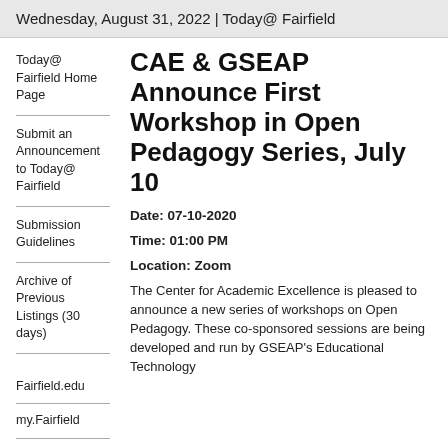Wednesday, August 31, 2022 | Today@ Fairfield
Today@ Fairfield Home Page
Submit an Announcement to Today@ Fairfield
Submission Guidelines
Archive of Previous Listings (30 days)
Fairfield.edu
my.Fairfield
All University
CAE & GSEAP Announce First Workshop in Open Pedagogy Series, July 10
Date: 07-10-2020
Time: 01:00 PM
Location: Zoom
The Center for Academic Excellence is pleased to announce a new series of workshops on Open Pedagogy. These co-sponsored sessions are being developed and run by GSEAP's Educational Technology